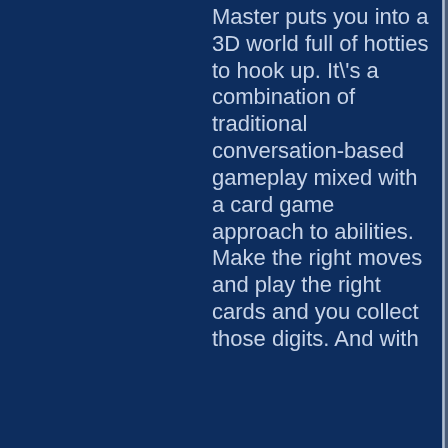Master puts you into a 3D world full of hotties to hook up. It\'s a combination of traditional conversation-based gameplay mixed with a card game approach to abilities. Make the right moves and play the right cards and you collect those digits. And with